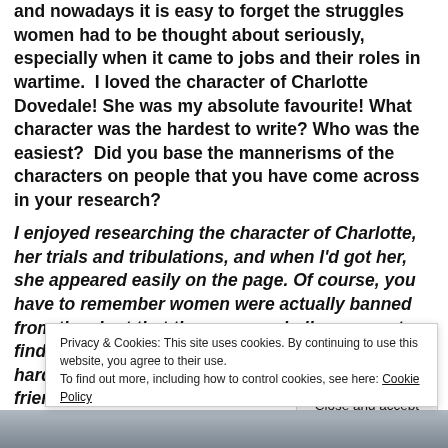and nowadays it is easy to forget the struggles women had to be thought about seriously, especially when it came to jobs and their roles in wartime. I loved the character of Charlotte Dovedale! She was my absolute favourite! What character was the hardest to write? Who was the easiest? Did you base the mannerisms of the characters on people that you have come across in your research?
I enjoyed researching the character of Charlotte, her trials and tribulations, and when I'd got her, she appeared easily on the page. Of course, you have to remember women were actually banned from the air at that time, so my challenge was to find ways for her to break the embargo. The hardest person to write was the father of her best friend whom she idolised as a
Privacy & Cookies: This site uses cookies. By continuing to use this website, you agree to their use.
To find out more, including how to control cookies, see here: Cookie Policy
Close and accept
[Figure (photo): Partial photo strip at the bottom of the page, appearing to show an aerial or outdoor scene in muted grey-blue tones.]